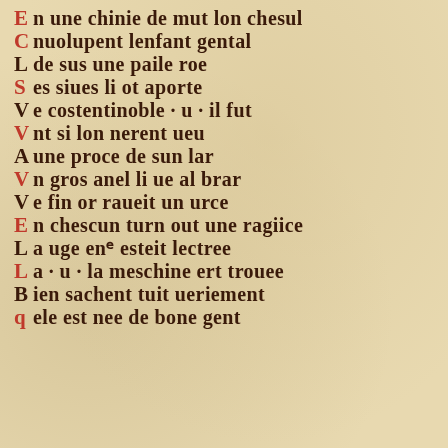[Figure (photo): A medieval manuscript page showing 14 lines of Old French text written in Gothic blackletter script. Initial letters at the start of each line are alternately written in red (rubricated) and dark brown/black ink on a parchment background.]
E n une chinie de mut lon chesul
C nuolupent lenfant gental
L de sus une paile roe
S es siues li ot aporte
V e costentinoble · u · il fut
V nt si lon nerent ueu
A une proce de sun lar
V n gros anel li ue al brar
V e fin or raueit un urce
E n chescun turn out une ragiice
La uge enr esteit lectree
La · u · la meschine ert trouee
B ien sachent tuit ueriement
q ele est nee de bone gent